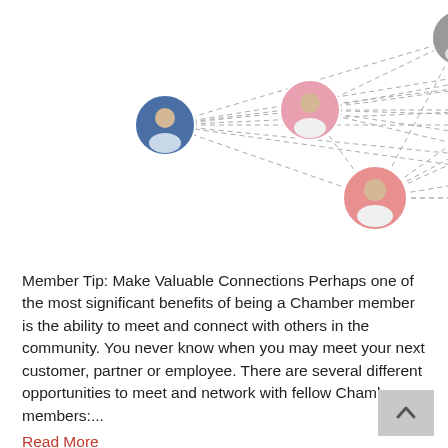[Figure (network-graph): A network diagram showing multiple person avatar icons connected by dashed lines, representing community connections. Avatars have various background colors: pink, gray, green, dark green, brown/tan, blue, red-haired, yellow, light blue/purple.]
Member Tip: Make Valuable Connections Perhaps one of the most significant benefits of being a Chamber member is the ability to meet and connect with others in the community. You never know when you may meet your next customer, partner or employee. There are several different opportunities to meet and network with fellow Chamber members:...
Read More